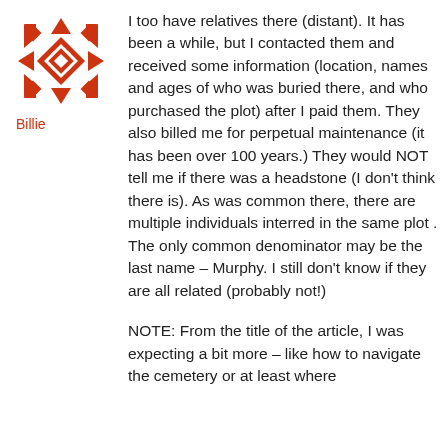[Figure (illustration): Red snowflake-like decorative avatar icon]
Billie
I too have relatives there (distant). It has been a while, but I contacted them and received some information (location, names and ages of who was buried there, and who purchased the plot) after I paid them. They also billed me for perpetual maintenance (it has been over 100 years.) They would NOT tell me if there was a headstone (I don't think there is). As was common there, there are multiple individuals interred in the same plot . The only common denominator may be the last name – Murphy. I still don't know if they are all related (probably not!)
NOTE: From the title of the article, I was expecting a bit more – like how to navigate the cemetery or at least where